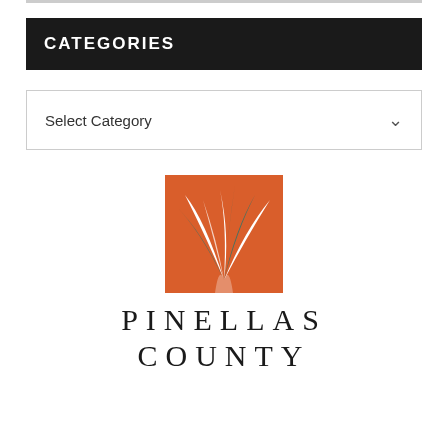CATEGORIES
Select Category
[Figure (logo): Pinellas County logo: orange square with stylized palm tree fronds in white and dark green, with text 'PINELLAS COUNTY' below in spaced serif uppercase letters]